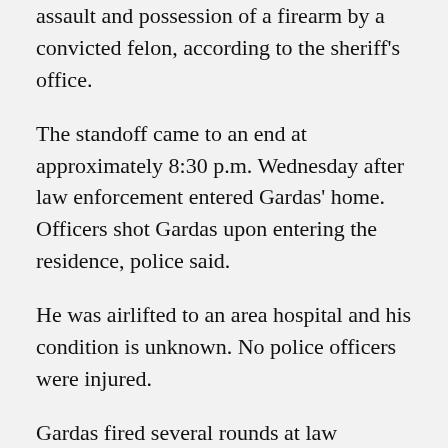Gardas. He had active arrest warrants for domestic assault and possession of a firearm by a convicted felon, according to the sheriff's office.
The standoff came to an end at approximately 8:30 p.m. Wednesday after law enforcement entered Gardas' home. Officers shot Gardas upon entering the residence, police said.
He was airlifted to an area hospital and his condition is unknown. No police officers were injured.
Gardas fired several rounds at law enforcement during the standoff, authorities said.
Police said the area surrounding the home will remain secured for investigative purposes and asked the public to stay away from that area. Earlier Wednesday, police had told people in the immediate vicinity of the home to evacuate due to the "volatile nature" of the incident and said they rerouted several roads in the area for public